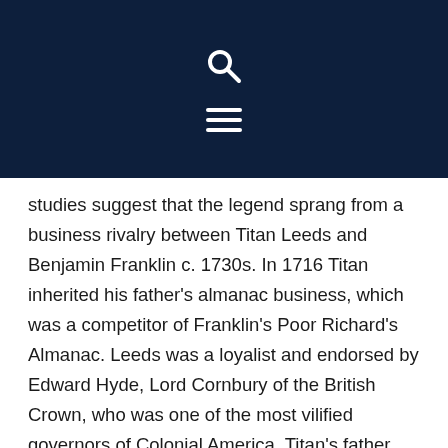[Figure (other): Dark navy header bar with a white magnifying glass search icon and a white hamburger menu icon (three horizontal lines)]
studies suggest that the legend sprang from a business rivalry between Titan Leeds and Benjamin Franklin c. 1730s. In 1716 Titan inherited his father's almanac business, which was a competitor of Franklin's Poor Richard's Almanac. Leeds was a loyalist and endorsed by Edward Hyde, Lord Cornbury of the British Crown, who was one of the most vilified governors of Colonial America. Titan's father, Daniel, was maligned by fellow Quakers for mystical and astrological references in An Almanack, and thus he was deemed a pagan. The Quaker Burlington Meeting, with its anti-crown sentiments and disdain for Leeds' writings, declared him “evil.” Titan nonetheless continued in the same